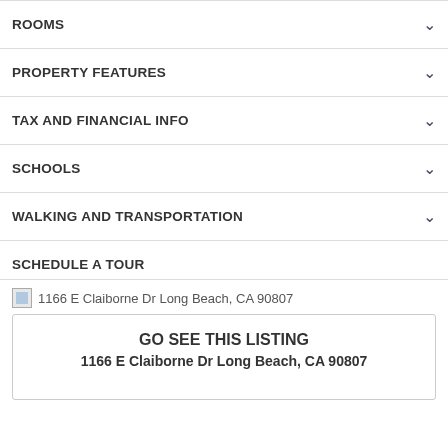ROOMS
PROPERTY FEATURES
TAX AND FINANCIAL INFO
SCHOOLS
WALKING AND TRANSPORTATION
SCHEDULE A TOUR
1166 E Claiborne Dr Long Beach, CA 90807
GO SEE THIS LISTING
1166 E Claiborne Dr Long Beach, CA 90807